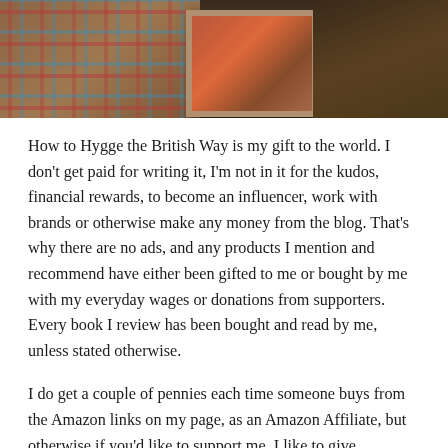[Figure (photo): Autumn/fall flat-lay photo showing a plaid scarf on the left, a framed picture with autumn leaves in the center, and wooden surface with pinecone on the right.]
How to Hygge the British Way is my gift to the world. I don't get paid for writing it, I'm not in it for the kudos, financial rewards, to become an influencer, work with brands or otherwise make any money from the blog. That's why there are no ads, and any products I mention and recommend have either been gifted to me or bought by me with my everyday wages or donations from supporters. Every book I review has been bought and read by me, unless stated otherwise.
I do get a couple of pennies each time someone buys from the Amazon links on my page, as an Amazon Affiliate, but otherwise if you'd like to support me, I like to give something back in return. That's why I write books. It always feels good if you get a book back in return for some money. You can find a full list of my books at my Author's Page on Amazon, but especially